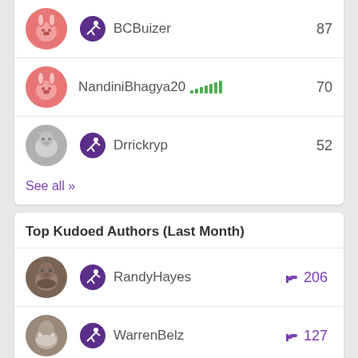BCBuizer 87
NandiniBhagya20 70
Drrickryp 52
See all >>
Top Kudoed Authors (Last Month)
RandyHayes 206
WarrenBelz 127
BCBuizer (partial)